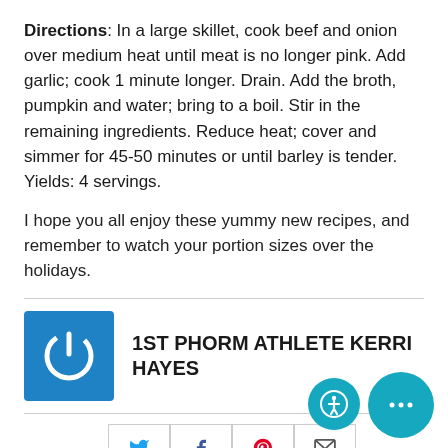Directions: In a large skillet, cook beef and onion over medium heat until meat is no longer pink. Add garlic; cook 1 minute longer. Drain. Add the broth, pumpkin and water; bring to a boil. Stir in the remaining ingredients. Reduce heat; cover and simmer for 45-50 minutes or until barley is tender. Yields: 4 servings.
I hope you all enjoy these yummy new recipes, and remember to watch your portion sizes over the holidays.
1ST PHORM ATHLETE KERRI HAYES
[Figure (logo): Blue square with white power button icon — 1st Phorm logo]